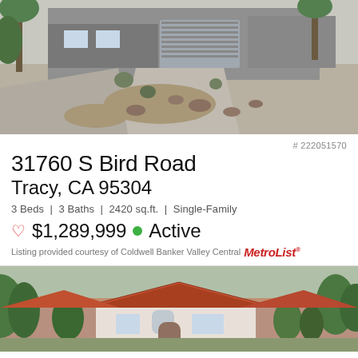[Figure (photo): Exterior photo of single-family home at 31760 S Bird Road, Tracy, CA — showing front driveway with xeriscaped gravel yard, decorative rocks, garage, and palm trees.]
# 222051570
31760 S Bird Road
Tracy, CA 95304
3 Beds | 3 Baths | 2420 sq.ft. | Single-Family
♡ $1,289,999 ● Active
Listing provided courtesy of Coldwell Banker Valley Central MetroList®
[Figure (photo): Aerial/elevated exterior photo of a residential neighborhood in Tracy, CA showing a white single-family home with red tile roof surrounded by trees and neighboring houses.]